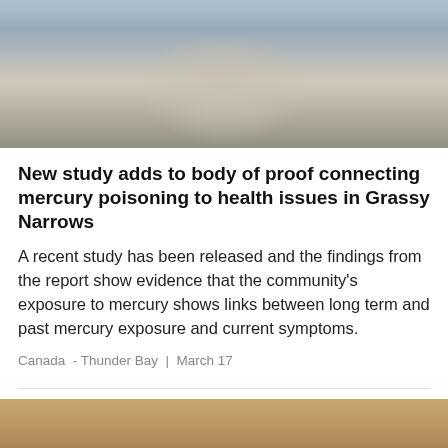[Figure (photo): Top portion of a person standing near water and rocky shore, cropped to show torso in a grey/blue shirt with water and rocks in background]
New study adds to body of proof connecting mercury poisoning to health issues in Grassy Narrows
A recent study has been released and the findings from the report show evidence that the community's exposure to mercury shows links between long term and past mercury exposure and current symptoms.
Canada  - Thunder Bay  |  March 17
[Figure (photo): Two people smiling in what appears to be a restaurant or café setting, partially cropped at bottom of page]